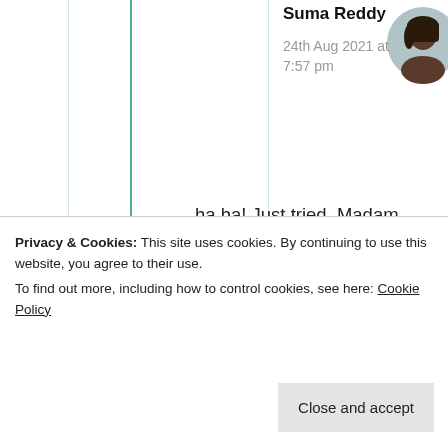Suma Reddy
24th Aug 2021 at 7:57 pm
ha ha! Just tried. Madam doesn't suits me too. Thanks always Sanjay 😇
★ Like
I think both have nice
Privacy & Cookies: This site uses cookies. By continuing to use this website, you agree to their use. To find out more, including how to control cookies, see here: Cookie Policy
Close and accept